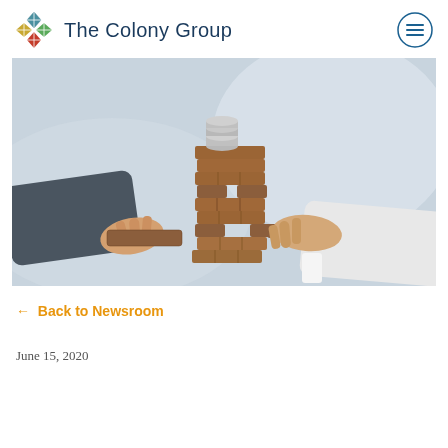The Colony Group
[Figure (photo): Two people pulling wooden blocks from opposite sides of a Jenga-like tower with coins stacked on top, symbolizing financial risk.]
← Back to Newsroom
June 15, 2020